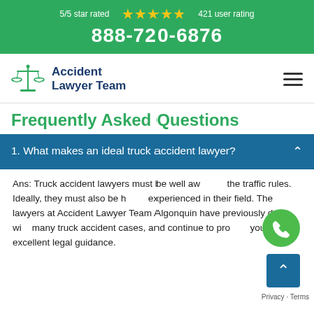5/5 star rated ★★★★★ 421 user rating
888-720-6876
[Figure (logo): Accident Lawyer Team logo with scales of justice icon]
Frequently Asked Questions
1. What makes an ideal truck accident lawyer?
Ans: Truck accident lawyers must be well aware of the traffic rules. Ideally, they must also be highly experienced in their field. The lawyers at Accident Lawyer Team Algonquin have previously dealt with many truck accident cases, and continue to provide you with excellent legal guidance.